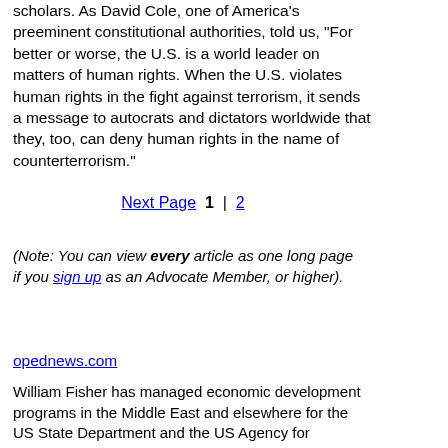scholars. As David Cole, one of America's preeminent constitutional authorities, told us, "For better or worse, the U.S. is a world leader on matters of human rights. When the U.S. violates human rights in the fight against terrorism, it sends a message to autocrats and dictators worldwide that they, too, can deny human rights in the name of counterterrorism."
Next Page  1  |  2
(Note: You can view every article as one long page if you sign up as an Advocate Member, or higher).
opednews.com
William Fisher has managed economic development programs in the Middle East and elsewhere for the US State Department and the US Agency for International Development. He served in the international affairs area in the Kennedy Administration and now (more...)